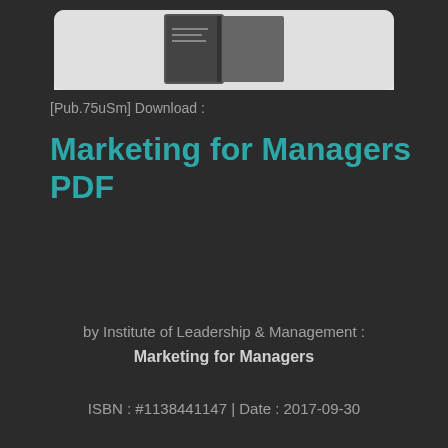[Figure (photo): Partial view of a book cover image at top of page, white/light background with dark book image cropped]
[Pub.75uSm] Download :
Marketing for Managers PDF
by Institute of Leadership & Management : Marketing for Managers
ISBN : #1138441147 | Date : 2017-09-30